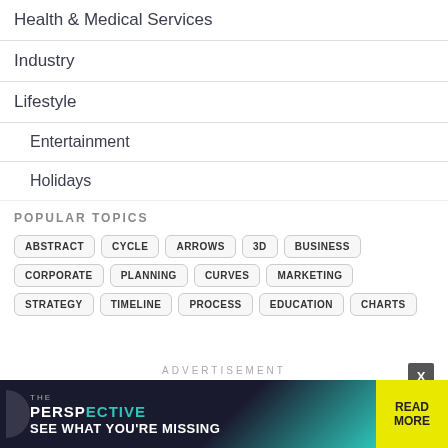Health & Medical Services
Industry
Lifestyle
Entertainment
Holidays
POPULAR TOPICS
ABSTRACT
CYCLE
ARROWS
3D
BUSINESS
CORPORATE
PLANNING
CURVES
MARKETING
STRATEGY
TIMELINE
PROCESS
EDUCATION
CHARTS
ADVERTISEMENT
[Figure (screenshot): Advertisement banner for 'The Perspective' reading platform with text 'SEE WHAT YOU'RE MISSING' and a yellow 'READ MORE' button on dark background with teal accent]